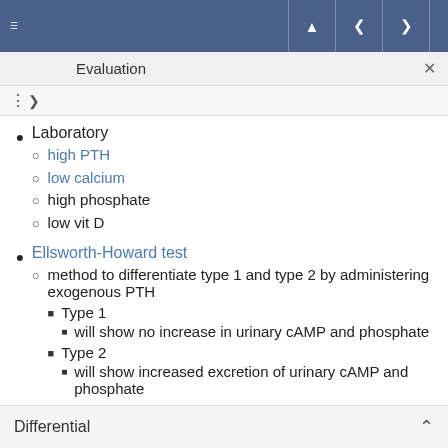Evaluation
Laboratory
high PTH
low calcium
high phosphate
low vit D
Ellsworth-Howard test
method to differentiate type 1 and type 2 by administering exogenous PTH
Type 1
will show no increase in urinary cAMP and phosphate
Type 2
will show increased excretion of urinary cAMP and phosphate
Differential